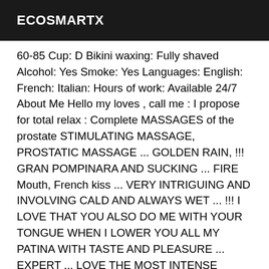ECOSMARTX
60-85 Cup: D Bikini waxing: Fully shaved Alcohol: Yes Smoke: Yes Languages: English: French: Italian: Hours of work: Available 24/7 About Me Hello my loves , call me : I propose for total relax : Complete MASSAGES of the prostate STIMULATING MASSAGE, PROSTATIC MASSAGE ... GOLDEN RAIN, !!! GRAN POMPINARA AND SUCKING ... FIRE Mouth, French kiss ... VERY INTRIGUING AND INVOLVING CALD AND ALWAYS WET ... !!! I LOVE THAT YOU ALSO DO ME WITH YOUR TONGUE WHEN I LOWER YOU ALL MY PATINA WITH TASTE AND PLEASURE ... EXPERT ... LOVE THE MOST INTENSE PLEASURES AND ARRAPANTS . I tell you TRUE SEX ... I LOVE THE LONGEST AND DEEPEST FOREPLAY ... WITHOUT LIMIT !!!!! YOUR ENJOYMENT AND MY EXCITEMENT ... I AM READY TO MEET YOUR HIDDEN DREAMS, GOING THROUGH THEM ARE AVAILABLE .... DEA OF SEX ... WITHOUT PARAGON ... ABSOLUTELY HOT REALLY